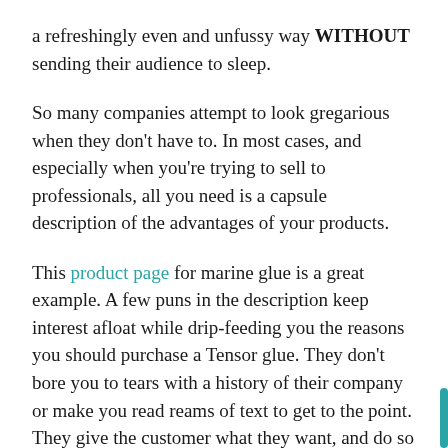a refreshingly even and unfussy way WITHOUT sending their audience to sleep.
So many companies attempt to look gregarious when they don't have to. In most cases, and especially when you're trying to sell to professionals, all you need is a capsule description of the advantages of your products.
This product page for marine glue is a great example. A few puns in the description keep interest afloat while drip-feeding you the reasons you should purchase a Tensor glue. They don't bore you to tears with a history of their company or make you read reams of text to get to the point. They give the customer what they want, and do so in an even and succinct manner.
Take a leaf out of their book the next time you think your product is dull and unengaging. Just be unfussy and get